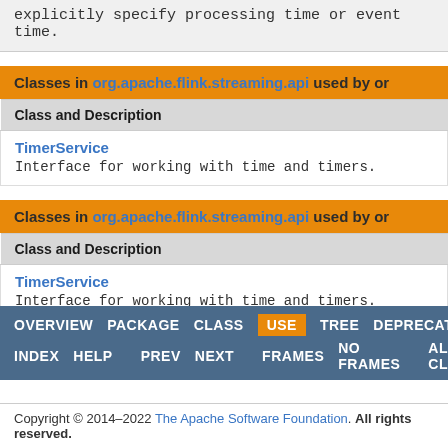explicitly specify processing time or event time.
| Class and Description |
| --- |
| TimerService
Interface for working with time and timers. |
| Class and Description |
| --- |
| TimerService
Interface for working with time and timers. |
OVERVIEW   PACKAGE   CLASS   USE   TREE   DEPRECATED
INDEX  HELP
PREV   NEXT        FRAMES   NO FRAMES        ALL CLASSES
Copyright © 2014–2022 The Apache Software Foundation. All rights reserved.